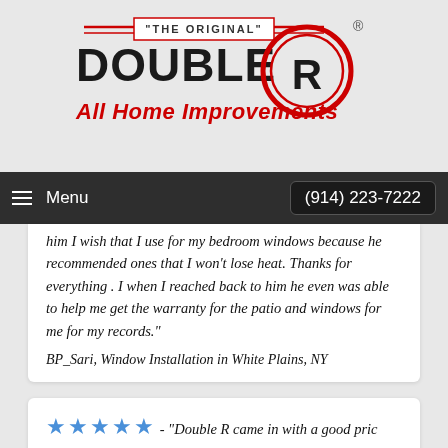[Figure (logo): Double R All Home Improvements logo — 'THE ORIGINAL' text above, DOUBLE R in bold black text with a stylized red circular R emblem, 'All Home Improvements' in red italic below]
Menu   (914) 223-7222
him I wish that I use for my bedroom windows because he recommended ones that I won't lose heat. Thanks for everything . I when I reached back to him he even was able to help me get the warranty for the patio and windows for me for my records."
BP_Sari, Window Installation in White Plains, NY
★★★★★ - "Double R came in with a good pric time and installed windows efficiently. We are so pleased with the work and Double R."